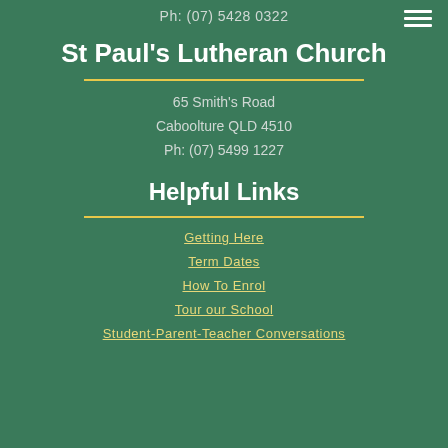Ph: (07) 5428 0322
St Paul's Lutheran Church
65 Smith's Road
Caboolture QLD 4510
Ph: (07) 5499 1227
Helpful Links
Getting Here
Term Dates
How To Enrol
Tour our School
Student-Parent-Teacher Conversations